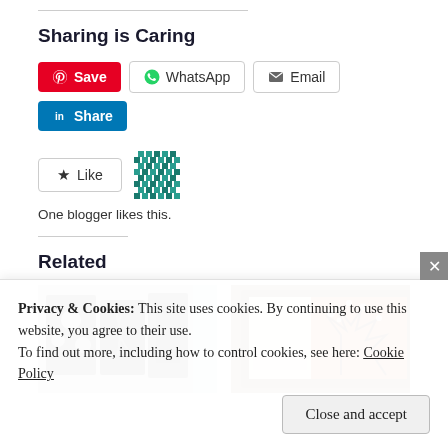Sharing is Caring
[Figure (screenshot): Social share buttons: Save (Pinterest, red), WhatsApp, Email, Share (LinkedIn, blue)]
[Figure (screenshot): Like button with star icon and a teal pixel avatar icon. Text: One blogger likes this.]
One blogger likes this.
Related
[Figure (photo): Related article image showing craft cards with floral patterns]
[Figure (photo): Related article image showing a framed artwork with orange and brown autumn tree]
Privacy & Cookies: This site uses cookies. By continuing to use this website, you agree to their use.
To find out more, including how to control cookies, see here: Cookie Policy
Close and accept